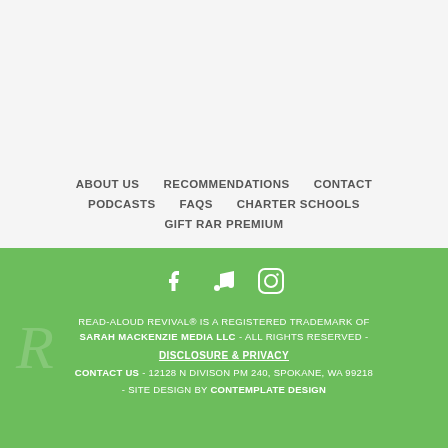ABOUT US
RECOMMENDATIONS
CONTACT
PODCASTS
FAQS
CHARTER SCHOOLS
GIFT RAR PREMIUM
[Figure (other): Social media icons: Facebook, Music/iTunes, Instagram on green background]
READ-ALOUD REVIVAL® IS A REGISTERED TRADEMARK OF SARAH MACKENZIE MEDIA LLC - ALL RIGHTS RESERVED - DISCLOSURE & PRIVACY CONTACT US - 12128 N DIVISON PM 240, SPOKANE, WA 99218 - SITE DESIGN BY CONTEMPLATE DESIGN